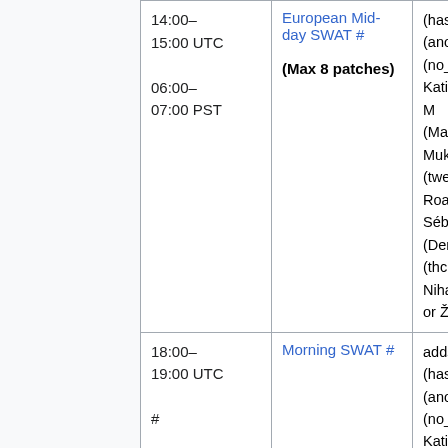|  | Time | SWAT | Names |
| --- | --- | --- | --- |
|  | 14:00–15:00 UTC
06:00–07:00 PST | European Mid-day SWAT #
(Max 8 patches) | (hashar), Brad (anomie), Cha (no_justific Katie (aude), M (MaxSem), Muk (twentyafter Roan (RoanKa Sébastien (Dereckson), T (thcipriani) Niharika (Niha or Željko (zelj |
|  | 18:00–19:00 UTC | Morning SWAT # | addshore, Ant (hashar), Brad (anomie), Cha (no_justific Katie (aude), M (MaxSem), Muk (twentyafter |